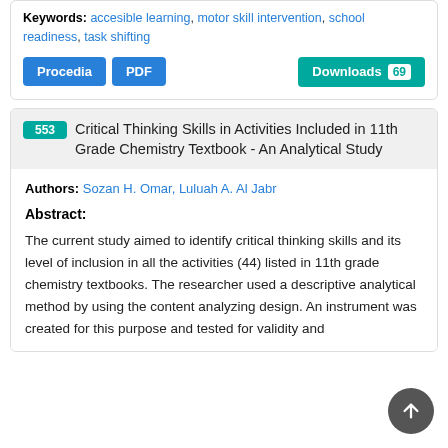Keywords: accesible learning, motor skill intervention, school readiness, task shifting
Procedia  PDF  Downloads 69
553 Critical Thinking Skills in Activities Included in 11th Grade Chemistry Textbook - An Analytical Study
Authors: Sozan H. Omar, Luluah A. Al Jabr
Abstract:
The current study aimed to identify critical thinking skills and its level of inclusion in all the activities (44) listed in 11th grade chemistry textbooks. The researcher used a descriptive analytical method by using the content analyzing design. An instrument was created for this purpose and tested for validity and